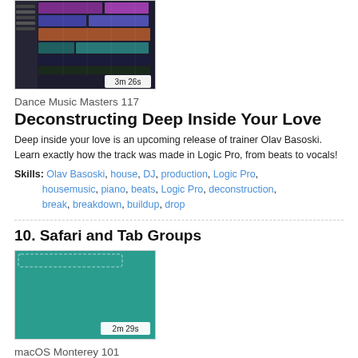[Figure (screenshot): Video thumbnail showing a DAW/Logic Pro interface with colorful tracks, duration badge showing 3m 26s]
Dance Music Masters 117
Deconstructing Deep Inside Your Love
Deep inside your love is an upcoming release of trainer Olav Basoski. Learn exactly how the track was made in Logic Pro, from beats to vocals!
Skills: Olav Basoski, house, DJ, production, Logic Pro, housemusic, piano, beats, Logic Pro, deconstruction, break, breakdown, buildup, drop
10. Safari and Tab Groups
[Figure (screenshot): Video thumbnail showing a teal/green colored macOS Safari interface, duration badge showing 2m 29s]
macOS Monterey 101
20 Monterey Secrets You Need To Know
Apple's macOS Monterey is full with cool new features that can